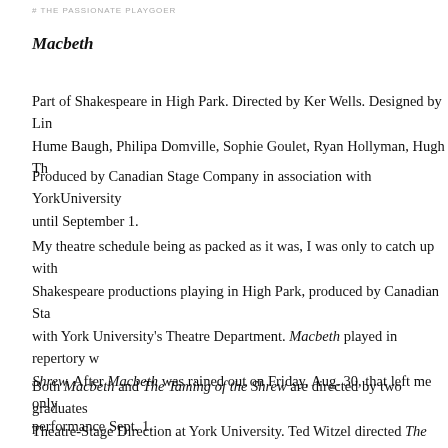# THE PASSIONATE PLAYGOER
Macbeth
Part of Shakespeare in High Park. Directed by Ker Wells. Designed by Lin Hume Baugh, Philipa Domville, Sophie Goulet, Ryan Hollyman, Hugh Th
Produced by Canadian Stage Company in association with YorkUniversity until September 1.
My theatre schedule being as packed as it was, I was only to catch up with Shakespeare productions playing in High Park, produced by Canadian Sta with York University's Theatre Department. Macbeth played in repertory w Shrew. After Macbeth was rained out on Friday, Aug. 30, that left me only performance Sept. 1.
Both Macbeth and The Taming of the Shrew are directed by two graduates Theatre-Stage Direction at York University. Ted Witzel directed The Tamin Wells directed Macbeth. Graduates and undergraduates also worked on the many of the major and minor parts along with the professional actors. I'm graduates and undergraduates valuable experience. I just wish the results w